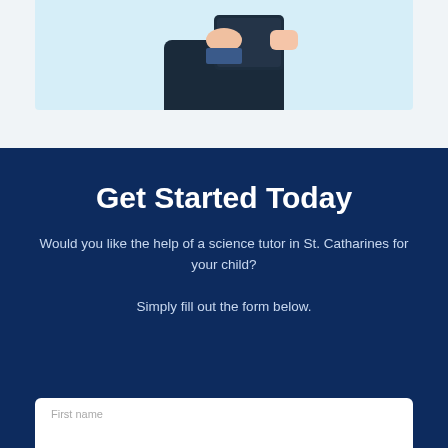[Figure (illustration): Partial illustration of a person holding a dark tablet/book against a light blue background, shown from waist up, cropped at top of page.]
Get Started Today
Would you like the help of a science tutor in St. Catharines for your child?

Simply fill out the form below.
[Figure (other): White form input area with label 'First name' at the bottom of the page.]